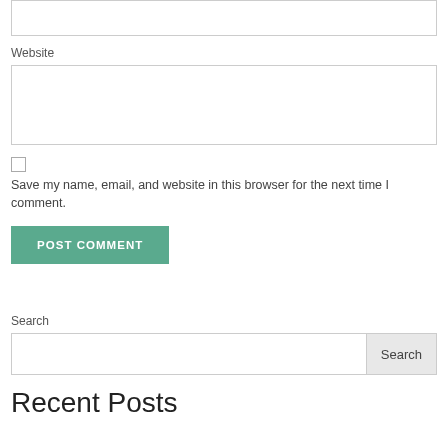[Figure (screenshot): Empty text input box at the top of the page (partial, cropped)]
Website
[Figure (screenshot): Website text input box]
[Figure (screenshot): Unchecked checkbox]
Save my name, email, and website in this browser for the next time I comment.
[Figure (screenshot): POST COMMENT button (teal/green)]
Search
[Figure (screenshot): Search input box with Search button]
Recent Posts